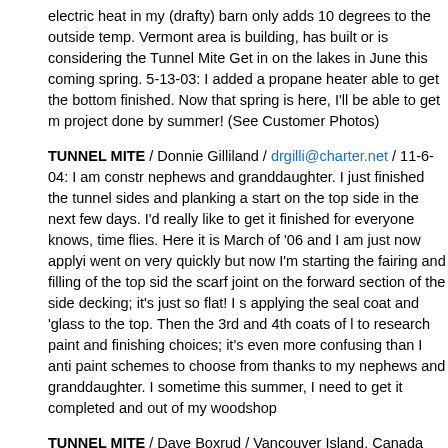electric heat in my (drafty) barn only adds 10 degrees to the outside temp. Vermont area is building, has built or is considering the Tunnel Mite Get in on the lakes in June this coming spring. 5-13-03: I added a propane heater able to get the bottom finished. Now that spring is here, I'll be able to get m project done by summer! (See Customer Photos)
TUNNEL MITE / Donnie Gilliland / drgilli@charter.net / 11-6-04: I am constr nephews and granddaughter. I just finished the tunnel sides and planking a start on the top side in the next few days. I'd really like to get it finished for everyone knows, time flies. Here it is March of '06 and I am just now applyi went on very quickly but now I'm starting the fairing and filling of the top sid the scarf joint on the forward section of the side decking; it's just so flat! I s applying the seal coat and 'glass to the top. Then the 3rd and 4th coats of l to research paint and finishing choices; it's even more confusing than I anti paint schemes to choose from thanks to my nephews and granddaughter. I sometime this summer, I need to get it completed and out of my woodshop
TUNNEL MITE / Dave Boxrud / Vancouver Island, Canada /islandlifeisgoo the Tunnel Mite in our boat building class in 1977. I wanted the Tunnel Mite designed the top deck to look like them, building and designing the boat ga from 1/8" Mahogany. I wet the wood and bent it over the frames, the front l fared out with light filler. Contact me through my email to ask me any quest